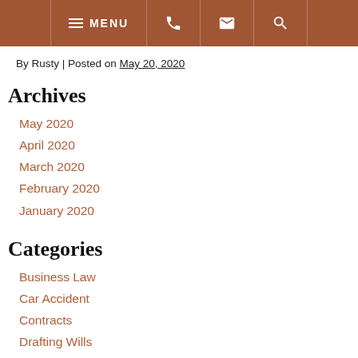MENU [phone] [email] [search]
By Rusty | Posted on May 20, 2020
Archives
May 2020
April 2020
March 2020
February 2020
January 2020
Categories
Business Law
Car Accident
Contracts
Drafting Wills
Elder Abuse
Estate And Probate Administration
Estate Litigation
Estate Planning